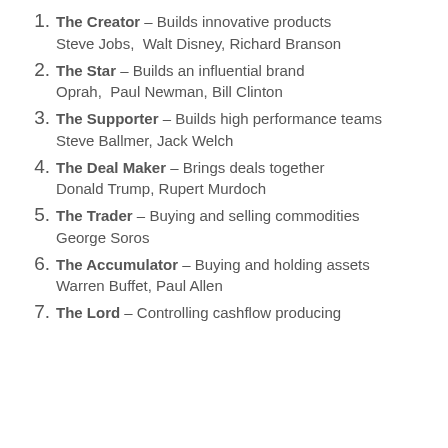The Creator – Builds innovative products   Steve Jobs, Walt Disney, Richard Branson
The Star – Builds an influential brand   Oprah, Paul Newman, Bill Clinton
The Supporter – Builds high performance teams   Steve Ballmer, Jack Welch
The Deal Maker – Brings deals together   Donald Trump, Rupert Murdoch
The Trader – Buying and selling commodities   George Soros
The Accumulator – Buying and holding assets   Warren Buffet, Paul Allen
The Lord – Controlling cashflow producing…